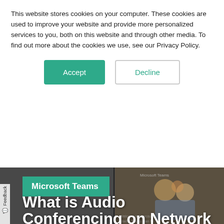This website stores cookies on your computer. These cookies are used to improve your website and provide more personalized services to you, both on this website and through other media. To find out more about the cookies we use, see our Privacy Policy.
Accept
Decline
[Figure (screenshot): Screenshot of a Microsoft Teams webpage with a cookie consent banner overlay at top and a hero section at bottom showing 'What is Audio Conferencing on Network for Microsoft Teams?' with the Microsoft Teams branding and a blurred background image of animated characters.]
Microsoft Teams
What is Audio Conferencing on Network for Microsoft Teams?